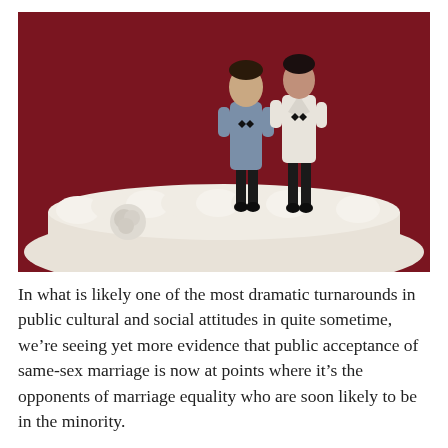[Figure (photo): Two male wedding cake topper figurines — one in a blue-grey suit, one in a white jacket — standing on a white frosted wedding cake against a deep red/burgundy background.]
In what is likely one of the most dramatic turnarounds in public cultural and social attitudes in quite sometime, we're seeing yet more evidence that public acceptance of same-sex marriage is now at points where it's the opponents of marriage equality who are soon likely to be in the minority.